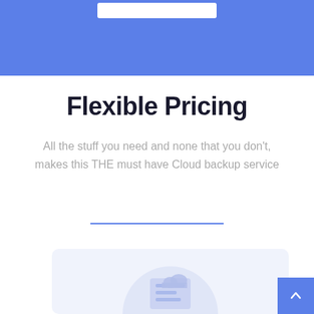Flexible Pricing
All the stuff you need and none that you don't, makes this THE must have Cloud backup service
[Figure (illustration): A light blue circular illustration showing a cloud backup / document icon, partially visible at the bottom of the page, inside a light blue-gray rounded card.]
[Figure (other): Back to top button — a small blue square with a white upward-pointing chevron arrow, positioned at the bottom-right corner.]